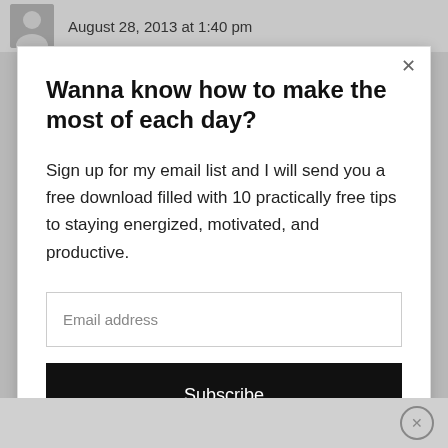August 28, 2013 at 1:40 pm
Wanna know how to make the most of each day?
Sign up for my email list and I will send you a free download filled with 10 practically free tips to staying energized, motivated, and productive.
Email address
Subscribe